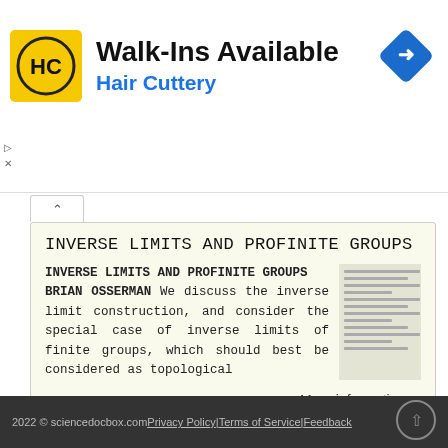[Figure (logo): Hair Cuttery advertisement banner with HC logo in yellow square, text 'Walk-Ins Available' and 'Hair Cuttery' in blue, navigation diamond icon on right]
INVERSE LIMITS AND PROFINITE GROUPS
INVERSE LIMITS AND PROFINITE GROUPS BRIAN OSSERMAN We discuss the inverse limit construction, and consider the special case of inverse limits of finite groups, which should best be considered as topological
More information →
2022 © sciencedocbox.com Privacy Policy | Terms of Service | Feedback